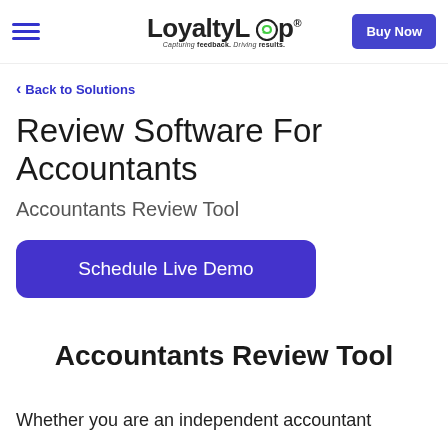LoyaltyLoop® — Capturing feedback. Driving results. | Buy Now
< Back to Solutions
Review Software For Accountants
Accountants Review Tool
Schedule Live Demo
Accountants Review Tool
Whether you are an independent accountant